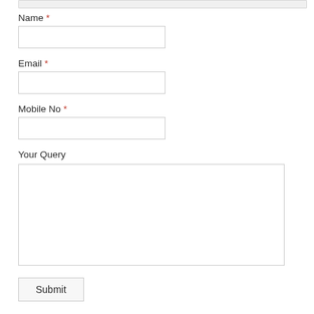Name *
[Figure (screenshot): Empty text input field for Name]
Email *
[Figure (screenshot): Empty text input field for Email]
Mobile No *
[Figure (screenshot): Empty text input field for Mobile No]
Your Query
[Figure (screenshot): Empty textarea for Your Query]
Submit